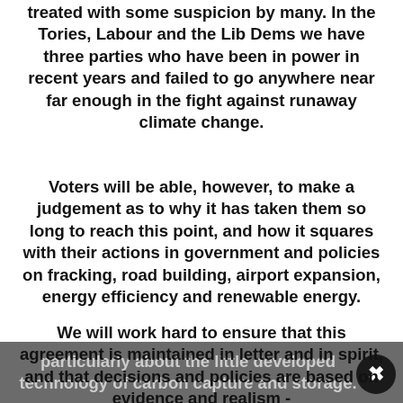treated with some suspicion by many. In the Tories, Labour and the Lib Dems we have three parties who have been in power in recent years and failed to go anywhere near far enough in the fight against runaway climate change.
Voters will be able, however, to make a judgement as to why it has taken them so long to reach this point, and how it squares with their actions in government and policies on fracking, road building, airport expansion, energy efficiency and renewable energy.
We will work hard to ensure that this agreement is maintained in letter and in spirit, and that decisions and policies are based on evidence and realism - particularly about the little developed technology of carbon capture and storage.